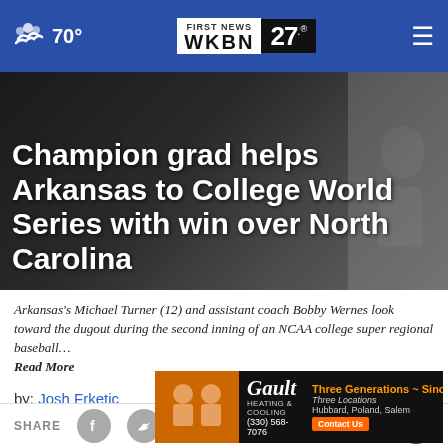70° WKBN FIRST NEWS 27.
Champion grad helps Arkansas to College World Series with win over North Carolina
Arkansas's Michael Turner (12) and assistant coach Bobby Wernes look toward the dugout during the second inning of an NCAA college super regional baseball… Read More
by: Josh Frketic
Posted: Jun 12, 2022 / 07:32 PM EDT
Updated: Jun 12, 2022 / 07:32 PM EDT
[Figure (screenshot): Share bar with Facebook, Twitter, phone icons and close button]
[Figure (infographic): Gault Heating & Cooling advertisement - Three Generations Since 1955, Three Locations, Hubbard Poland Salem, Contact Us, (330) 568-7076]